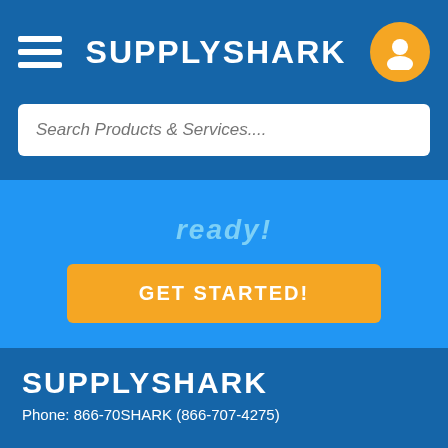SUPPLYSHARK
Search Products & Services....
ready!
GET STARTED!
SUPPLYSHARK
Phone: 866-70SHARK (866-707-4275)